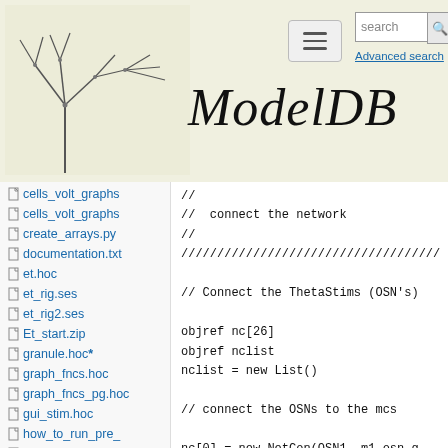[Figure (screenshot): ModelDB website header with logo (neuron branching tree), hamburger menu button, search bar with 'search' placeholder, Advanced search link, and ModelDB italic title]
cells_volt_graphs
cells_volt_graphs
create_arrays.py
documentation.txt
et.hoc
et_rig.ses
et_rig2.ses
Et_start.zip
granule.hoc *
graph_fncs.hoc
graph_fncs_pg.hoc
gui_stim.hoc
how_to_run_pre_
inhib_study.eps
inhib_study.ps
//
//  connect the network
//
////////////////////////////////////

// Connect the ThetaStims (OSN's)

objref nc[26]
objref nclist
nclist = new List()

// connect the OSNs to the mcs

nc[0] = new NetCon(OSN1, m1_osn_g
// arguments are source, target,
nc[1] = new NetCon(OSN2, m2_osn_g

// connect the Lights to the mcs

nc[6] = new NetCon(Light1, m1_osn